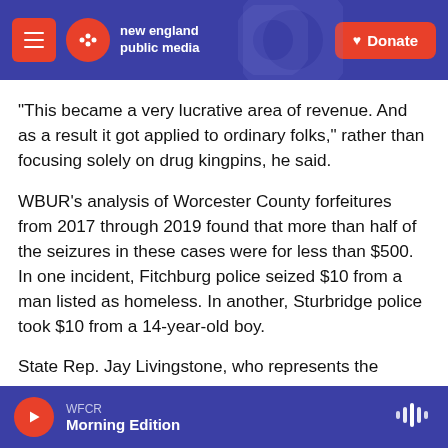new england public media | Donate
“This became a very lucrative area of revenue. And as a result it got applied to ordinary folks,” rather than focusing solely on drug kingpins, he said.
WBUR’s analysis of Worcester County forfeitures from 2017 through 2019 found that more than half of the seizures in these cases were for less than $500. In one incident, Fitchburg police seized $10 from a man listed as homeless. In another, Sturbridge police took $10 from a 14-year-old boy.
State Rep. Jay Livingstone, who represents the
WFCR | Morning Edition